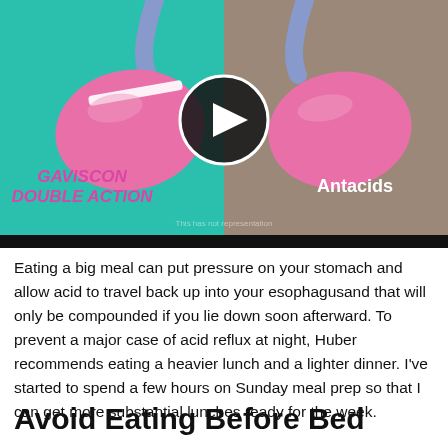[Figure (infographic): Split-screen medical illustration comparing Gaviscon Double Action (left, teal background) vs Antacids (right, brown/gray background). Both sides show stylized stomach diagrams. Left stomach shows a white barrier layer at the top (Gaviscon's raft). A play button (dark circle with white triangle) is centered between the two. Text on left reads 'GAVISCON DOUBLE ACTION' in bold italic pink/magenta. Text on right reads 'Antacids' in white bold. Watermark text appears at bottom center.]
Eating a big meal can put pressure on your stomach and allow acid to travel back up into your esophagusand that will only be compounded if you lie down soon afterward. To prevent a major case of acid reflux at night, Huber recommends eating a heavier lunch and a lighter dinner. I've started to spend a few hours on Sunday meal prep so that I can get more substantial lunches ready for the week.
Avoid Eating Before Bed